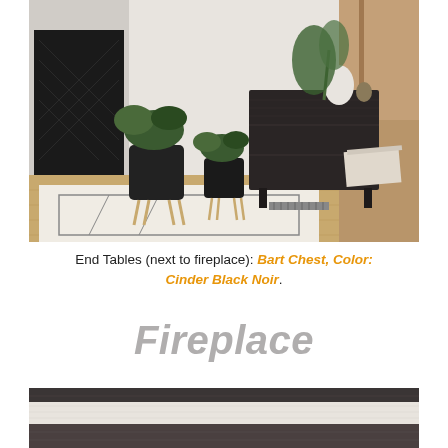[Figure (photo): Interior room photo showing two black potted plants on wooden stands, a dark charcoal/black dresser (Bart Chest) with tapered legs, a geometric patterned cream and black rug, a black fireplace surround with herringbone tile, and light wood flooring.]
End Tables (next to fireplace): Bart Chest, Color: Cinder Black Noir.
Fireplace
[Figure (photo): Close-up photo of what appears to be a fireplace surround or mantel, showing horizontal dark and light banded materials — dark charcoal edges with a white/cream center band.]